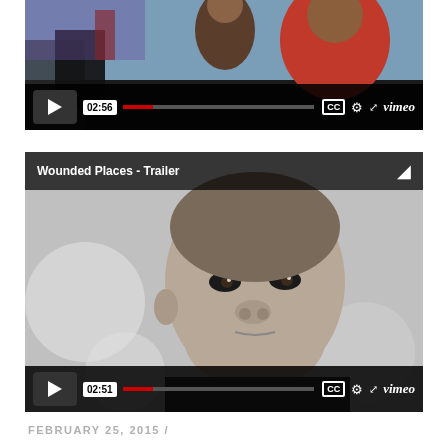[Figure (screenshot): Vimeo video player showing a street scene thumbnail with video controls, time 02:56]
[Figure (screenshot): Vimeo video player titled 'Wounded Places - Trailer' showing a black-and-white close-up of a young boy's face, with video controls showing time 02:51]
FEBRUARY 25, 2015 /